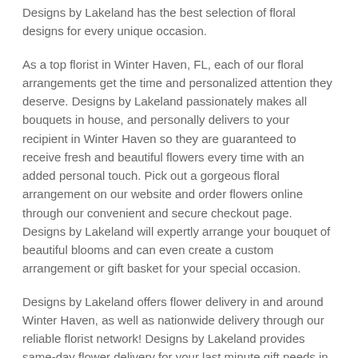Designs by Lakeland has the best selection of floral designs for every unique occasion.
As a top florist in Winter Haven, FL, each of our floral arrangements get the time and personalized attention they deserve. Designs by Lakeland passionately makes all bouquets in house, and personally delivers to your recipient in Winter Haven so they are guaranteed to receive fresh and beautiful flowers every time with an added personal touch. Pick out a gorgeous floral arrangement on our website and order flowers online through our convenient and secure checkout page. Designs by Lakeland will expertly arrange your bouquet of beautiful blooms and can even create a custom arrangement or gift basket for your special occasion.
Designs by Lakeland offers flower delivery in and around Winter Haven, as well as nationwide delivery through our reliable florist network! Designs by Lakeland provides same-day flower delivery for your last minute gift needs in Winter Haven, FL as well.